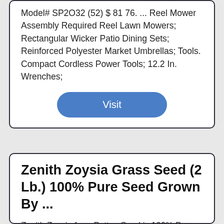Model# SP2O32 (52) $ 81 76. ... Reel Mower Assembly Required Reel Lawn Mowers; Rectangular Wicker Patio Dining Sets; Reinforced Polyester Market Umbrellas; Tools. Compact Cordless Power Tools; 12.2 In. Wrenches;
Visit
Zenith Zoysia Grass Seed (2 Lb.) 100% Pure Seed Grown By ...
Zenith Zoysia from Patten Seed is 100% Pure Seed (no mulch) - you get the actual 2